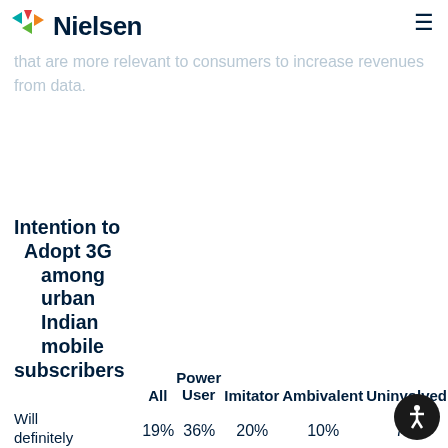Nielsen
that initiatives to communicate and targeted, create new business. Operators have now begun to create services that are more relevant to consumers to increase revenues from data.
Intention to Adopt 3G among urban Indian mobile subscribers
|  | All | Power User | Imitator | Ambivalent | Uninvolved |
| --- | --- | --- | --- | --- | --- |
| Will definitely adopt 3G | 19% | 36% | 20% | 10% | 7% |
| Will probably adopt 3G | 43% | 34% | 65% | 29% | 41% |